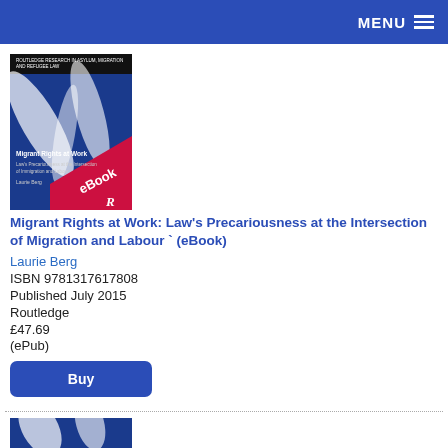MENU
[Figure (illustration): Book cover for 'Migrant Rights at Work: Law's Precariousness at the Intersection of Immigration and Labour' by Laurie Berg, with an eBook banner. Blue abstract design with Routledge logo.]
Migrant Rights at Work: Law's Precariousness at the Intersection of Migration and Labour ` (eBook)
Laurie Berg
ISBN 9781317617808
Published July 2015
Routledge
£47.69
(ePub)
Buy
[Figure (illustration): Partial book cover visible at the bottom of the page, similar blue design.]